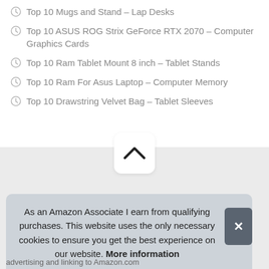Top 10 Mugs and Stand – Lap Desks
Top 10 ASUS ROG Strix GeForce RTX 2070 – Computer Graphics Cards
Top 10 Ram Tablet Mount 8 inch – Tablet Stands
Top 10 Ram For Asus Laptop – Computer Memory
Top 10 Drawstring Velvet Bag – Tablet Sleeves
[Figure (other): Scroll-to-top button with upward chevron arrow on light grey background]
As an Amazon Associate I earn from qualifying purchases. This website uses the only necessary cookies to ensure you get the best experience on our website. More information
advertising and linking to Amazon.com